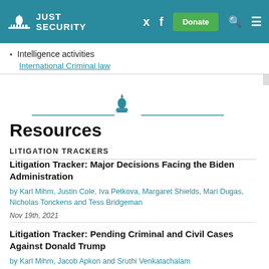JUST SECURITY
Intelligence activities
[Figure (logo): Just Security capitol building logo with horizontal decorative line divider]
Resources
LITIGATION TRACKERS
Litigation Tracker: Major Decisions Facing the Biden Administration
by Karl Mihm, Justin Cole, Iva Petkova, Margaret Shields, Mari Dugas, Nicholas Tonckens and Tess Bridgeman
Nov 19th, 2021
Litigation Tracker: Pending Criminal and Civil Cases Against Donald Trump
by Karl Mihm, Jacob Apkon and Sruthi Venkatachalam